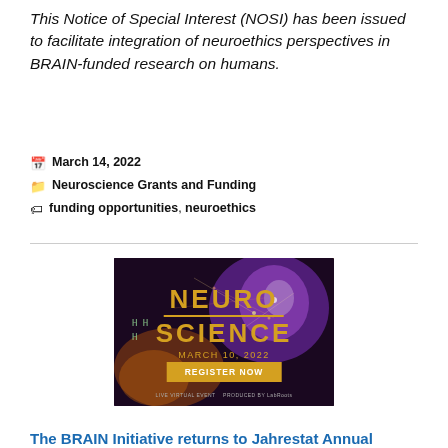This Notice of Special Interest (NOSI) has been issued to facilitate integration of neuroethics perspectives in BRAIN-funded research on humans.
March 14, 2022
Neuroscience Grants and Funding
funding opportunities, neuroethics
[Figure (illustration): Neuroscience event advertisement showing a brain with glowing neural connections and cosmic imagery. Text reads 'NEURO SCIENCE MARCH 10, 2022 REGISTER NOW LIVE VIRTUAL EVENT']
The BRAIN Initiative returns to Jahrestat Annual